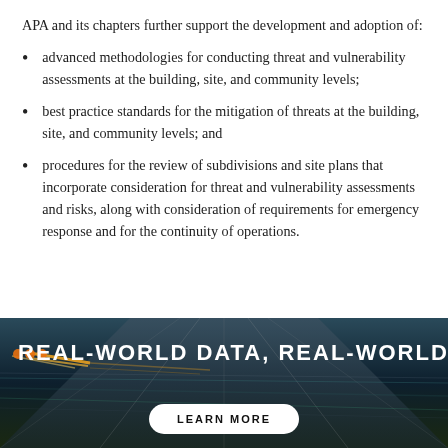APA and its chapters further support the development and adoption of:
advanced methodologies for conducting threat and vulnerability assessments at the building, site, and community levels;
best practice standards for the mitigation of threats at the building, site, and community levels; and
procedures for the review of subdivisions and site plans that incorporate consideration for threat and vulnerability assessments and risks, along with consideration of requirements for emergency response and for the continuity of operations.
[Figure (photo): A dark photo of a road/highway at night or high speed, with streaking lights, viewed from above or at angle. A banner overlay reads REAL-WORLD DATA, REAL-WORLD IMPACT with a LEARN MORE button.]